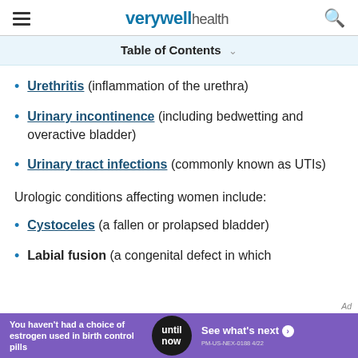verywell health
Table of Contents
Urethritis (inflammation of the urethra)
Urinary incontinence (including bedwetting and overactive bladder)
Urinary tract infections (commonly known as UTIs)
Urologic conditions affecting women include:
Cystoceles (a fallen or prolapsed bladder)
Labial fusion (a congenital defect in which
[Figure (screenshot): Advertisement banner: purple background. Text 'You haven't had a choice of estrogen used in birth control pills', circular dark badge with 'until now', and 'See what's next' with arrow. Reference PM-US-NEX-0188 4/22]